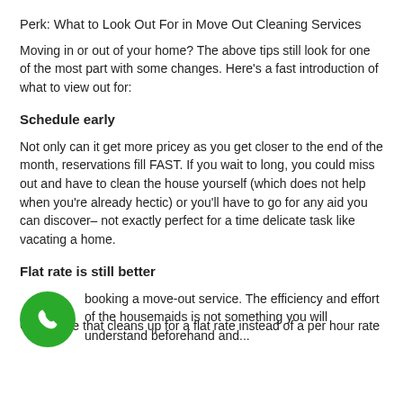Perk: What to Look Out For in Move Out Cleaning Services
Moving in or out of your home? The above tips still look for one of the most part with some changes. Here’s a fast introduction of what to view out for:
Schedule early
Not only can it get more pricey as you get closer to the end of the month, reservations fill FAST. If you wait to long, you could miss out and have to clean the house yourself (which does not help when you’re already hectic) or you’ll have to go for any aid you can discover– not exactly perfect for a time delicate task like vacating a home.
Flat rate is still better
Go for one that cleans up for a flat rate instead of a per hour rate booking a move-out service. The efficiency and effort of the housemaids is not something you will understand beforehand and...